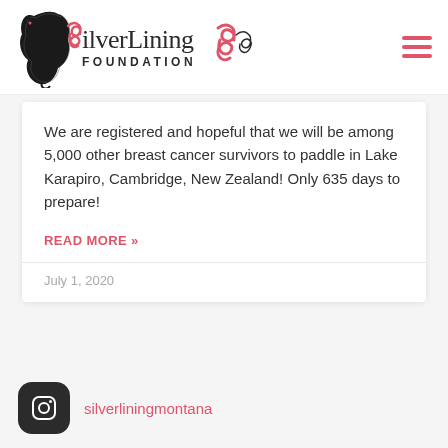[Figure (logo): Silver Lining Foundation logo with dragon and pink ribbon, text 'ilverLining FOUNDATION']
We are registered and hopeful that we will be among 5,000 other breast cancer survivors to paddle in Lake Karapiro, Cambridge, New Zealand! Only 635 days to prepare!
READ MORE »
July 1, 2020
silverliningmontana